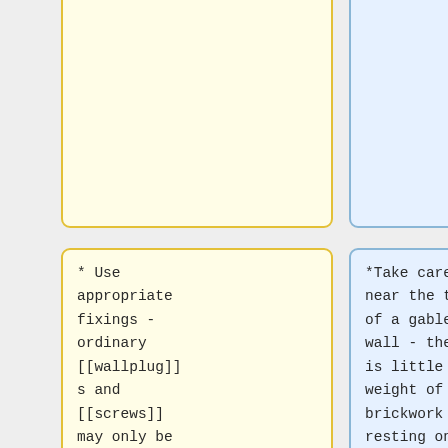extreme cases you can easily bring down a slender chimney stack with an oversized aerial!
* Use appropriate fixings - ordinary [[wallplugs]] and [[screws]] may only be acceptable for smaller aerials in more
*Take care near the top of a gable wall - there is little weight of brickwork resting on it, so it is not that strong and you can